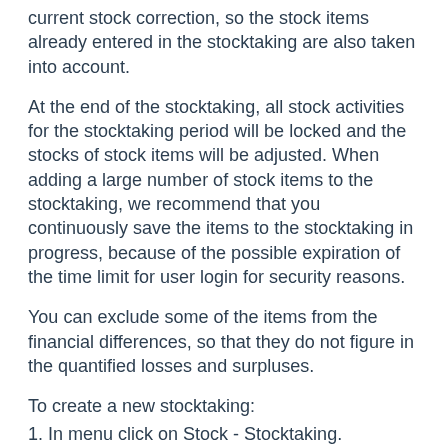current stock correction, so the stock items already entered in the stocktaking are also taken into account.
At the end of the stocktaking, all stock activities for the stocktaking period will be locked and the stocks of stock items will be adjusted. When adding a large number of stock items to the stocktaking, we recommend that you continuously save the items to the stocktaking in progress, because of the possible expiration of the time limit for user login for security reasons.
You can exclude some of the items from the financial differences, so that they do not figure in the quantified losses and surpluses.
To create a new stocktaking:
1. In menu click on Stock - Stocktaking.
2. Select the stock where you will create a new stocktaking, fill time range from - to.
3. Click on button New stocktaking.